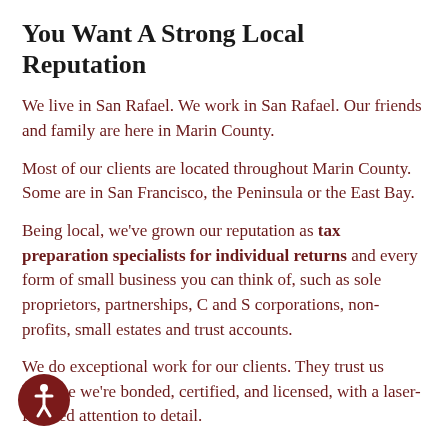You Want A Strong Local Reputation
We live in San Rafael. We work in San Rafael. Our friends and family are here in Marin County.
Most of our clients are located throughout Marin County. Some are in San Francisco, the Peninsula or the East Bay.
Being local, we've grown our reputation as tax preparation specialists for individual returns and every form of small business you can think of, such as sole proprietors, partnerships, C and S corporations, non-profits, small estates and trust accounts.
We do exceptional work for our clients. They trust us because we're bonded, certified, and licensed, with a laser-focused attention to detail.
[Figure (illustration): Circular accessibility icon showing a person figure in white on a dark red background]